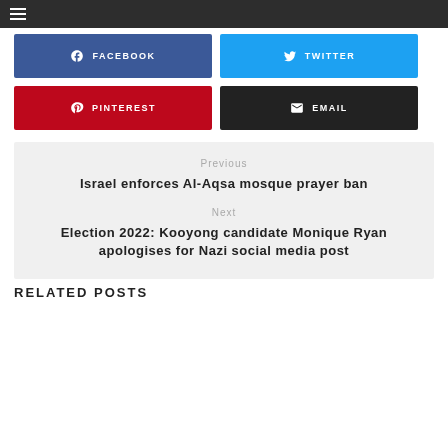≡
[Figure (infographic): Social share buttons: Facebook (blue), Twitter (light blue), Pinterest (red), Email (dark/black)]
Previous
Israel enforces Al-Aqsa mosque prayer ban
Next
Election 2022: Kooyong candidate Monique Ryan apologises for Nazi social media post
RELATED POSTS